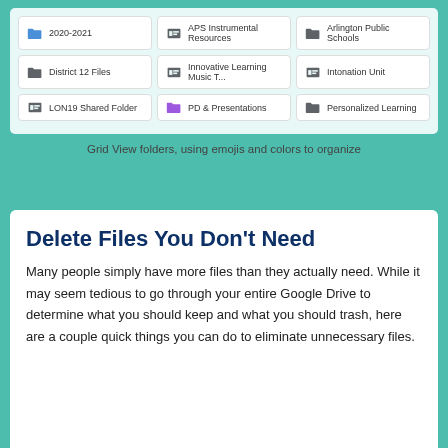[Figure (screenshot): Grid view of Google Drive folders with icons and colors: 2020-2021 (blue folder), APS Instrumental Resources (dark icon), Arlington Public Schools (dark folder), District 12 Files (dark folder), Innovative Learning Music T... (dark icon), Intonation Unit (dark icon), LON19 Shared Folder (dark icon), PD & Presentations (purple folder), Personalized Learning (dark folder)]
Grid View folders, using emojis and colors to organize
Delete Files You Don't Need
Many people simply have more files than they actually need. While it may seem tedious to go through your entire Google Drive to determine what you should keep and what you should trash, here are a couple quick things you can do to eliminate unnecessary files.